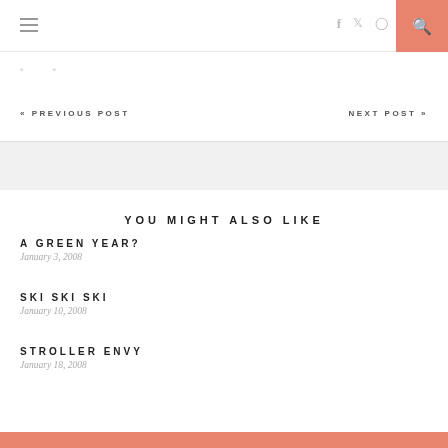Navigation bar with hamburger menu, social icons (f, twitter, instagram), and search button
« PREVIOUS POST    NEXT POST »
YOU MIGHT ALSO LIKE
A GREEN YEAR?
January 3, 2008
SKI SKI SKI
January 10, 2008
STROLLER ENVY
January 18, 2008